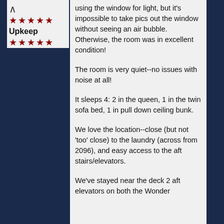Upkeep
using the window for light, but it's impossible to take pics out the window without seeing an air bubble. Otherwise, the room was in excellent condition!
The room is very quiet--no issues with noise at all!
It sleeps 4: 2 in the queen, 1 in the twin sofa bed, 1 in pull down ceiling bunk.
We love the location--close (but not 'too' close) to the laundry (across from 2096), and easy access to the aft stairs/elevators.
We've stayed near the deck 2 aft elevators on both the Wonder